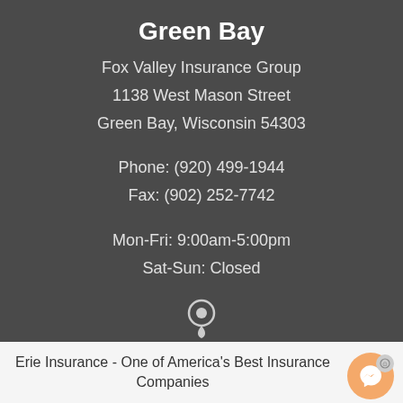Green Bay
Fox Valley Insurance Group
1138 West Mason Street
Green Bay, Wisconsin 54303
Phone: (920) 499-1944
Fax: (902) 252-7742
Mon-Fri: 9:00am-5:00pm
Sat-Sun: Closed
[Figure (illustration): Map pin / location marker icon]
Erie Insurance - One of America's Best Insurance Companies